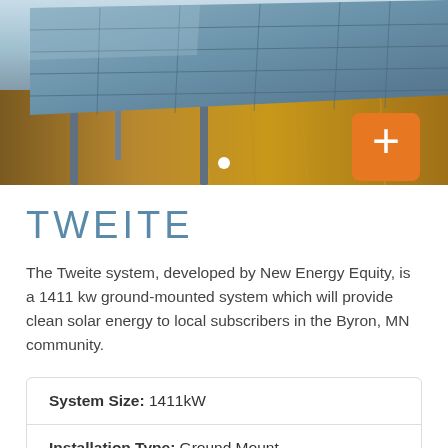[Figure (photo): Solar panels on a ground-mounted structure in a field of dry golden grass, with an orange plus button overlay and a white dot navigation indicator]
TWEITE
The Tweite system, developed by New Energy Equity, is a 1411 kw ground-mounted system which will provide clean solar energy to local subscribers in the Byron, MN community.
| System Size: | 1411kW |
| Installation Type: | Ground Mount |